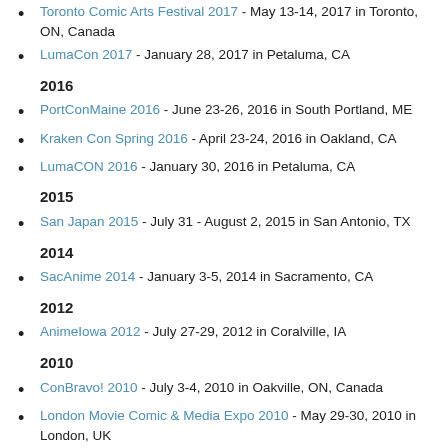Toronto Comic Arts Festival 2017 - May 13-14, 2017 in Toronto, ON, Canada
LumaCon 2017 - January 28, 2017 in Petaluma, CA
2016
PortConMaine 2016 - June 23-26, 2016 in South Portland, ME
Kraken Con Spring 2016 - April 23-24, 2016 in Oakland, CA
LumaCON 2016 - January 30, 2016 in Petaluma, CA
2015
San Japan 2015 - July 31 - August 2, 2015 in San Antonio, TX
2014
SacAnime 2014 - January 3-5, 2014 in Sacramento, CA
2012
AnimeIowa 2012 - July 27-29, 2012 in Coralville, IA
2010
ConBravo! 2010 - July 3-4, 2010 in Oakville, ON, Canada
London Movie Comic & Media Expo 2010 - May 29-30, 2010 in London, UK
2009
Bakuretsu Con 2009 - October 29 - November 1, 2009 in Colchester, VT
Kumoricon 2009 - September 5-7, 2009 in Portland, OR
Anime North 2009 - May 22-24, 2009 in Toronto, ON, Canada
New York Comic Con 2009 - February 6-8, 2009 in New York, NY